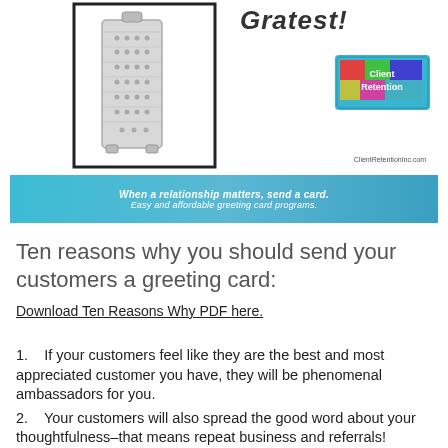[Figure (illustration): Box grater kitchen tool illustration inside a bordered frame, with 'Gratest!' script title text and a Client Retention Inc. logo and URL on the right side]
[Figure (infographic): Blue gradient banner bar with italic white text: 'When a relationship matters, send a card.' and 'Easy and affordable greeting card programs.']
Ten reasons why you should send your customers a greeting card:
Download Ten Reasons Why PDF here.
1.   If your customers feel like they are the best and most appreciated customer you have, they will be phenomenal ambassadors for you.
2.   Your customers will also spread the good word about your thoughtfulness–that means repeat business and referrals!
3.   Feeling “neg​lected and unappreciated” is the #1 reason businesses lose their customers.